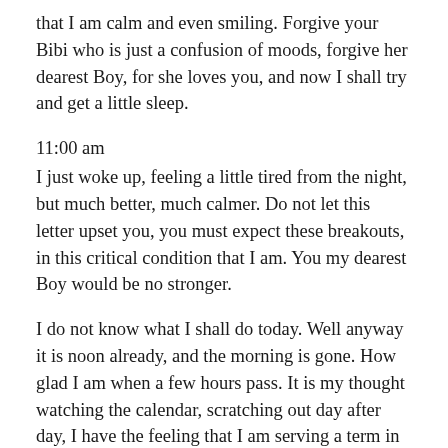that I am calm and even smiling. Forgive your Bibi who is just a confusion of moods, forgive her dearest Boy, for she loves you, and now I shall try and get a little sleep.
11:00 am
I just woke up, feeling a little tired from the night, but much better, much calmer. Do not let this letter upset you, you must expect these breakouts, in this critical condition that I am. You my dearest Boy would be no stronger.
I do not know what I shall do today. Well anyway it is noon already, and the morning is gone. How glad I am when a few hours pass. It is my thought watching the calendar, scratching out day after day, I have the feeling that I am serving a term in jail, for the crime that I want to set myself free, that I want to better my standard of living. And you know dearest that the Law, the people, revolt against such a one. They believe that one must wait until life frees him.